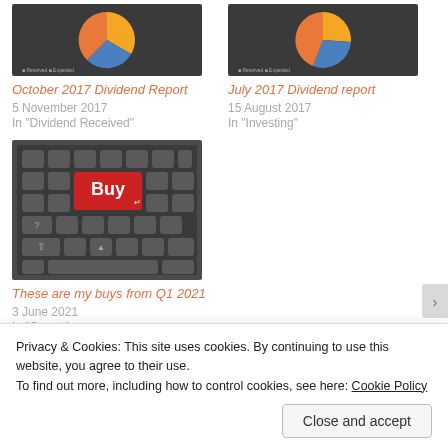[Figure (other): Pie chart thumbnail for October 2017 Dividend Report, dark background with orange and blue pie chart]
[Figure (other): Pie chart thumbnail for July 2017 Dividend report, dark background with orange and blue pie chart]
October 2017 Dividend Report
5 November 2017
In "Dividend Received"
July 2017 Dividend report
15 August 2017
In "Investing"
[Figure (photo): Photo of a keyboard with a red Buy key highlighted]
These are my buys from Q1 2021
3 June 2021
In "Crypto"
Privacy & Cookies: This site uses cookies. By continuing to use this website, you agree to their use.
To find out more, including how to control cookies, see here: Cookie Policy